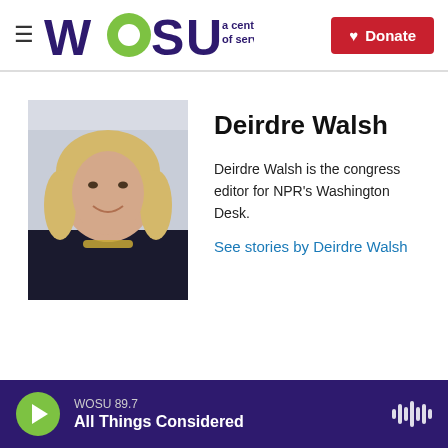WOSU a century of service | Donate
[Figure (photo): Headshot of Deirdre Walsh, a woman with blonde hair wearing a dark blazer and gold necklace, smiling, against a light background.]
Deirdre Walsh
Deirdre Walsh is the congress editor for NPR's Washington Desk.
See stories by Deirdre Walsh
WOSU 89.7 All Things Considered